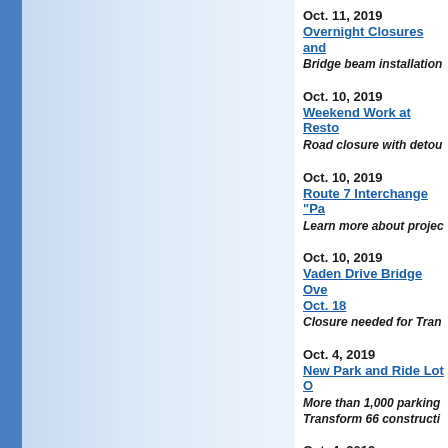Oct. 11, 2019 | Overnight Closures and... | Bridge beam installation...
Oct. 10, 2019 | Weekend Work at Resto... | Road closure with detou...
Oct. 10, 2019 | Route 7 Interchange "Pa... | Learn more about projec...
Oct. 10, 2019 | Vaden Drive Bridge Ove... Oct. 18 | Closure needed for Tran...
Oct. 4, 2019 | New Park and Ride Lot O... | More than 1,000 parking... Transform 66 constructi...
Oct. 4, 2019 | Overnight Closures and... | Bridge beam installation...
Oct. 4, 2019 | VDOT Hosts Third Annu... | Public invited for 70-veh...